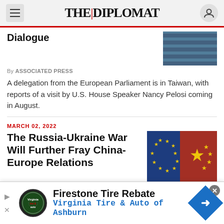THE DIPLOMAT
Dialogue
By ASSOCIATED PRESS
A delegation from the European Parliament is in Taiwan, with reports of a visit by U.S. House Speaker Nancy Pelosi coming in August.
MARCH 02, 2022
The Russia-Ukraine War Will Further Fray China-Europe Relations
By XUE QING
2021 was a rough year for China-Europe relations. 2022 looks set to be even worse.
Firestone Tire Rebate Virginia Tire & Auto of Ashburn